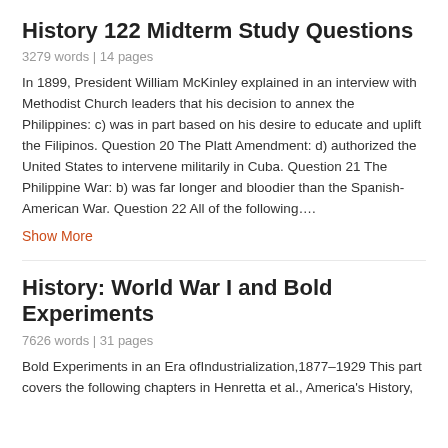History 122 Midterm Study Questions
3279 words | 14 pages
In 1899, President William McKinley explained in an interview with Methodist Church leaders that his decision to annex the Philippines: c) was in part based on his desire to educate and uplift the Filipinos. Question 20 The Platt Amendment: d) authorized the United States to intervene militarily in Cuba. Question 21 The Philippine War: b) was far longer and bloodier than the Spanish-American War. Question 22 All of the following….
Show More
History: World War I and Bold Experiments
7626 words | 31 pages
Bold Experiments in an Era ofIndustrialization,1877–1929 This part covers the following chapters in Henretta et al., America's History,